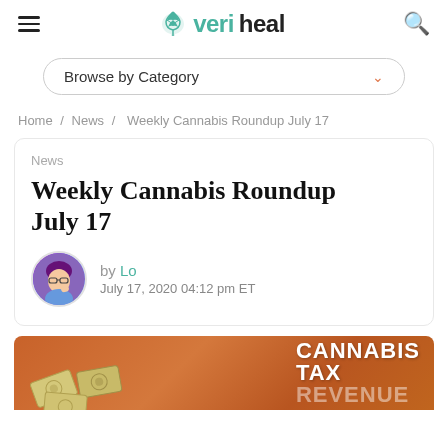veriheal
Browse by Category
Home / News / Weekly Cannabis Roundup July 17
News
Weekly Cannabis Roundup July 17
by Lo
July 17, 2020 04:12 pm ET
[Figure (illustration): Banner image with orange/brown gradient background showing illustrated money bills and bold white text reading CANNABIS TAX REVENUE]